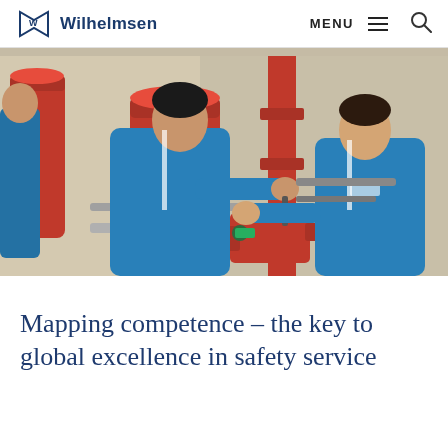Wilhelmsen — MENU
[Figure (photo): Two workers in blue coveralls working on red fire suppression/safety equipment cylinders and piping in an industrial setting. Wilhelmsen branding visible on uniforms.]
Mapping competence – the key to global excellence in safety service